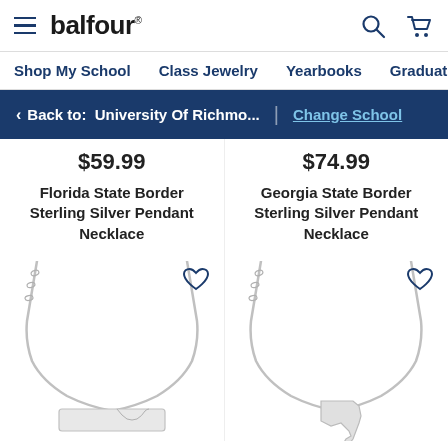balfour. | Shop My School | Class Jewelry | Yearbooks | Graduation | Sc
< Back to: University Of Richmo... | Change School
$59.99
Florida State Border Sterling Silver Pendant Necklace
$74.99
Georgia State Border Sterling Silver Pendant Necklace
[Figure (photo): Florida state border sterling silver pendant necklace product image with chain]
[Figure (photo): Georgia state border sterling silver pendant necklace product image with chain]